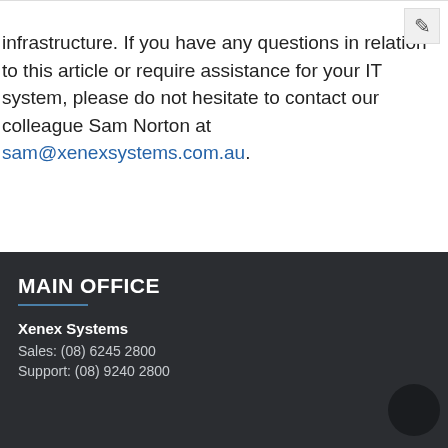infrastructure. If you have any questions in relation to this article or require assistance for your IT system, please do not hesitate to contact our colleague Sam Norton at sam@xenexsystems.com.au.
MAIN OFFICE
Xenex Systems
Sales: (08) 6245 2800
Support: (08) 9240 2800